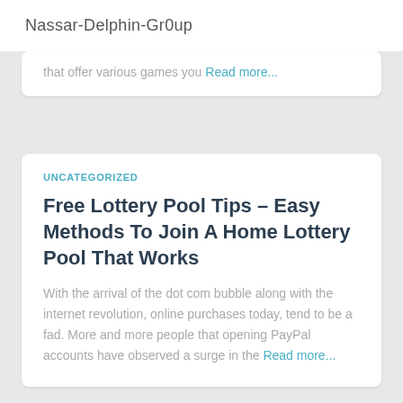Nassar-Delphin-Gr0up
that offer various games you Read more...
UNCATEGORIZED
Free Lottery Pool Tips – Easy Methods To Join A Home Lottery Pool That Works
With the arrival of the dot com bubble along with the internet revolution, online purchases today, tend to be a fad. More and more people that opening PayPal accounts have observed a surge in the Read more...